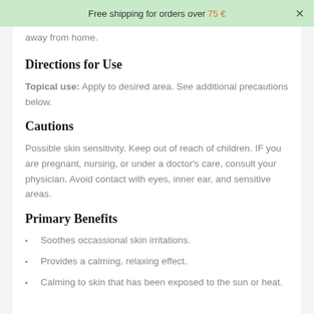Free shipping for orders over 75 €
away from home.
Directions for Use
Topical use: Apply to desired area. See additional precautions below.
Cautions
Possible skin sensitivity. Keep out of reach of children. IF you are pregnant, nursing, or under a doctor's care, consult your physician. Avoid contact with eyes, inner ear, and sensitive areas.
Primary Benefits
Soothes occassional skin irritations.
Provides a calming, relaxing effect.
Calming to skin that has been exposed to the sun or heat.